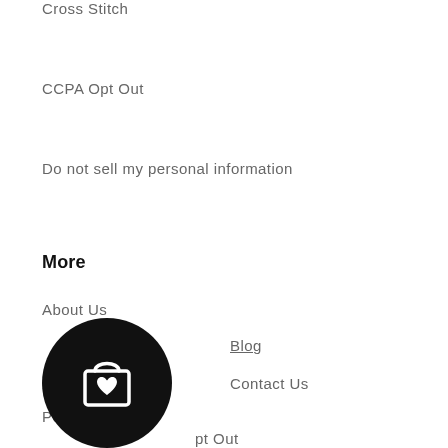Cross Stitch
CCPA Opt Out
Do not sell my personal information
More
About Us
Blog
Contact Us
Policy & FAQs
[Figure (illustration): Circular black button icon with a shopping bag and heart symbol]
...pt Out
Learning Zone: Crochet A-Z